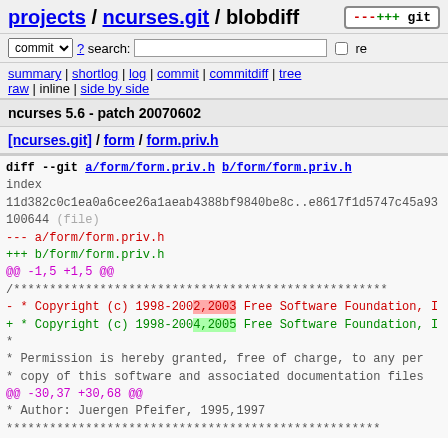projects / ncurses.git / blobdiff
commit ? search: re
summary | shortlog | log | commit | commitdiff | tree
raw | inline | side by side
ncurses 5.6 - patch 20070602
[ncurses.git] / form / form.priv.h
[Figure (screenshot): Git diff of form/form.priv.h showing copyright year change from 2002,2003 to 2004,2005]
diff --git a/form/form.priv.h b/form/form.priv.h
index
11d382c0c1ea0a6cee26a1aeab4388bf9840be8c..e8617f1d5747c45a93
100644 (file)
--- a/form/form.priv.h
+++ b/form/form.priv.h
@@ -1,5 +1,5 @@
 /***...
- * Copyright (c) 1998-2002,2003 Free Software Foundation, I
+ * Copyright (c) 1998-2004,2005 Free Software Foundation, I
  *
  * Permission is hereby granted, free of charge, to any per
  * copy of this software and associated documentation files
@@ -30,37 +30,68 @@
  *   Author:  Juergen Pfeifer, 1995,1997
  ****...